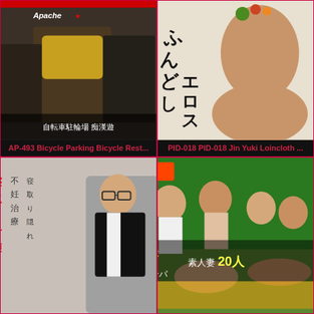[Figure (photo): DVD cover image - AP-493 Bicycle Parking scene]
AP-493 Bicycle Parking Bicycle Rest...
[Figure (photo): DVD cover image - PID-018 Jin Yuki Loincloth]
PID-018 PID-018 Jin Yuki Loincloth ...
[Figure (photo): DVD cover image - bottom left product]
[Figure (photo): DVD cover image - bottom right product with text 20人]